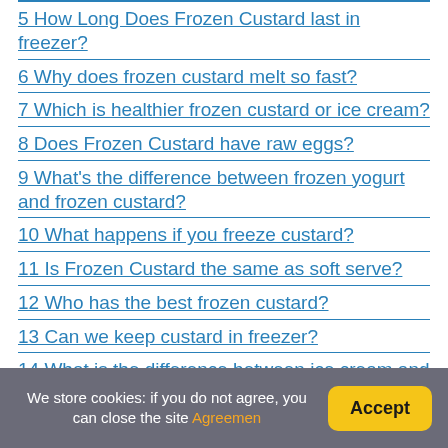5 How Long Does Frozen Custard last in freezer?
6 Why does frozen custard melt so fast?
7 Which is healthier frozen custard or ice cream?
8 Does Frozen Custard have raw eggs?
9 What's the difference between frozen yogurt and frozen custard?
10 What happens if you freeze custard?
11 Is Frozen Custard the same as soft serve?
12 Who has the best frozen custard?
13 Can we keep custard in freezer?
14 What is the difference between ice cream and frozen custard?
We store cookies: if you do not agree, you can close the site Agreemen